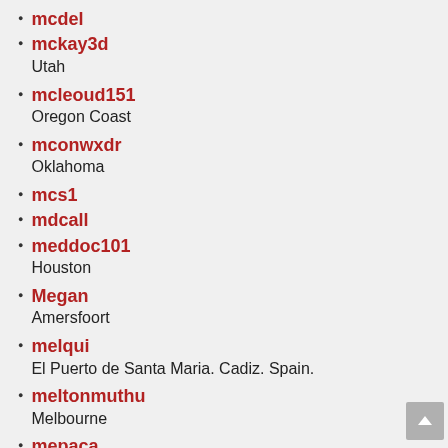mcdel
mckay3d
Utah
mcleoud151
Oregon Coast
mconwxdr
Oklahoma
mcs1
mdcall
meddoc101
Houston
Megan
Amersfoort
melqui
El Puerto de Santa Maria. Cadiz. Spain.
meltonmuthu
Melbourne
mepaca
merengue
Madrid. Spain